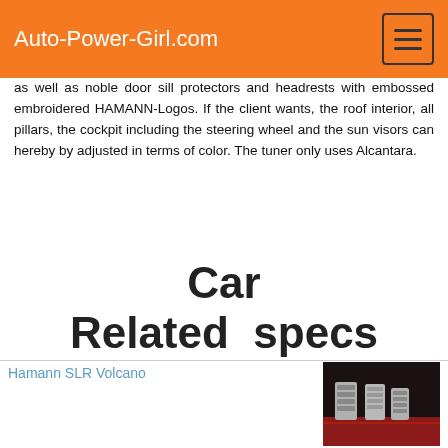Auto-Power-Girl.com
as well as noble door sill protectors and headrests with embossed embroidered HAMANN-Logos. If the client wants, the roof interior, all pillars, the cockpit including the steering wheel and the sun visors can hereby by adjusted in terms of color. The tuner only uses Alcantara.
Car
Related  specs
Hamann SLR Volcano
[Figure (photo): Car interior showing aluminum foot pedals on red and black floor mats]
Project Kahn Mercedes-Benz SLR
[Figure (photo): Silver Mercedes-Benz SLR sports car photographed from the side]